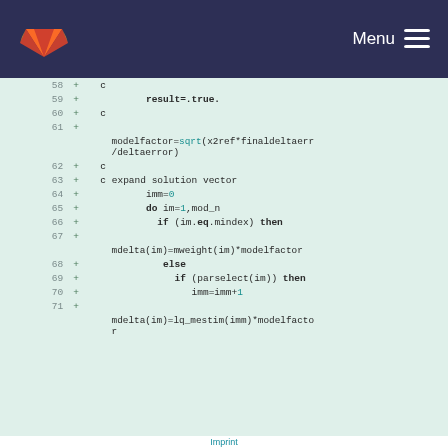GitLab Menu
[Figure (screenshot): Code diff view showing Fortran source code lines 58-71 with additions marked by '+' signs. Code includes modelfactor calculation using sqrt, do loop, if/else conditions, and array assignments.]
Imprint